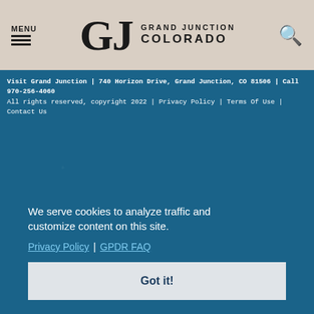MENU | Grand Junction Colorado [logo] [search icon]
Visit Grand Junction | 740 Horizon Drive, Grand Junction, CO 81506 | Call 970-256-4060
All rights reserved, copyright 2022 | Privacy Policy | Terms Of Use | Contact Us
We serve cookies to analyze traffic and customize content on this site.
Privacy Policy | GPDR FAQ
Got it!